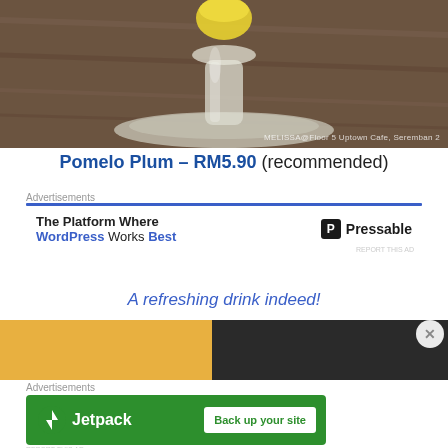[Figure (photo): Close-up photo of a glass drink vessel (pomelo plum drink) on a wooden table surface, with yellow liquid visible at top]
MELISSA@Floor 5 Uptown Cafe, Seremban 2
Pomelo Plum – RM5.90 (recommended)
Advertisements
[Figure (screenshot): Advertisement banner: The Platform Where WordPress Works Best — Pressable logo]
A refreshing drink indeed!
[Figure (photo): Bottom portion of a food/drink photo with yellow and dark sections]
Advertisements
[Figure (screenshot): Jetpack advertisement banner: Back up your site]